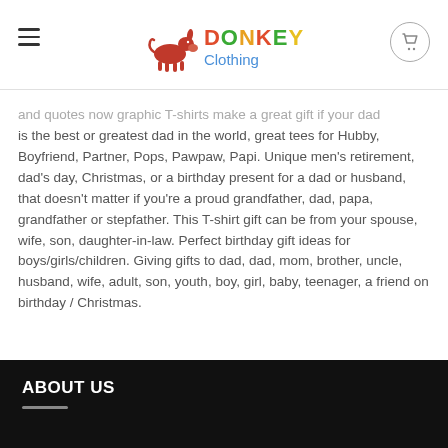Donkey Clothing
and quotes now graphic T-shirts make a great gift if your dad is the best or greatest dad in the world, great tees for Hubby, Boyfriend, Partner, Pops, Pawpaw, Papi. Unique men's retirement, dad's day, Christmas, or a birthday present for a dad or husband, that doesn't matter if you're a proud grandfather, dad, papa, grandfather or stepfather. This T-shirt gift can be from your spouse, wife, son, daughter-in-law. Perfect birthday gift ideas for boys/girls/children. Giving gifts to dad, dad, mom, brother, uncle, husband, wife, adult, son, youth, boy, girl, baby, teenager, a friend on birthday / Christmas.
ABOUT US